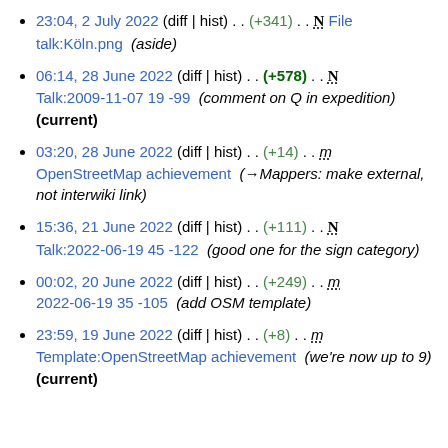23:04, 2 July 2022 (diff | hist) . . (+341) . . N File talk:Köln.png (aside)
06:14, 28 June 2022 (diff | hist) . . (+578) . . N Talk:2009-11-07 19 -99 (comment on Q in expedition) (current)
03:20, 28 June 2022 (diff | hist) . . (+14) . . m OpenStreetMap achievement (→Mappers: make external, not interwiki link)
15:36, 21 June 2022 (diff | hist) . . (+111) . . N Talk:2022-06-19 45 -122 (good one for the sign category)
00:02, 20 June 2022 (diff | hist) . . (+249) . . m 2022-06-19 35 -105 (add OSM template)
23:59, 19 June 2022 (diff | hist) . . (+8) . . m Template:OpenStreetMap achievement (we're now up to 9) (current)